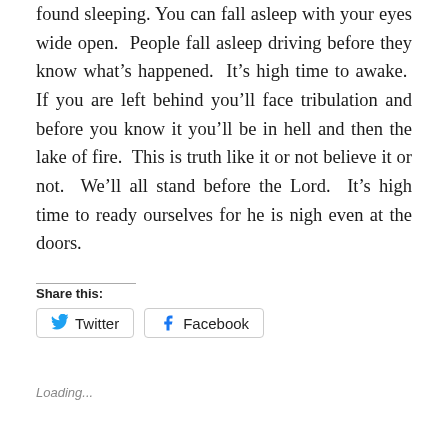found sleeping. You can fall asleep with your eyes wide open. People fall asleep driving before they know what's happened. It's high time to awake. If you are left behind you'll face tribulation and before you know it you'll be in hell and then the lake of fire. This is truth like it or not believe it or not. We'll all stand before the Lord. It's high time to ready ourselves for he is nigh even at the doors.
Share this:
Twitter
Facebook
Loading...